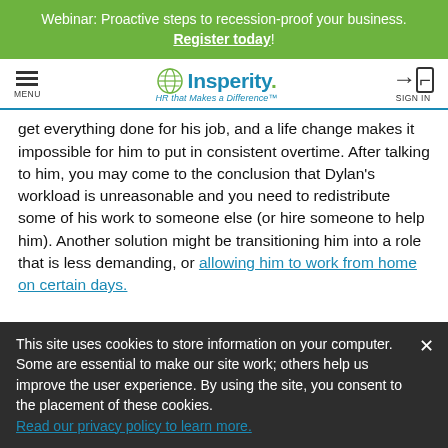Webinar: Proactive steps to recession-proof your business. Register today!
[Figure (logo): Insperity logo with leaf icon and tagline 'HR that Makes a Difference']
get everything done for his job, and a life change makes it impossible for him to put in consistent overtime. After talking to him, you may come to the conclusion that Dylan's workload is unreasonable and you need to redistribute some of his work to someone else (or hire someone to help him). Another solution might be transitioning him into a role that is less demanding, or allowing him to work from home on certain days.
This site uses cookies to store information on your computer. Some are essential to make our site work; others help us improve the user experience. By using the site, you consent to the placement of these cookies. Read our privacy policy to learn more.